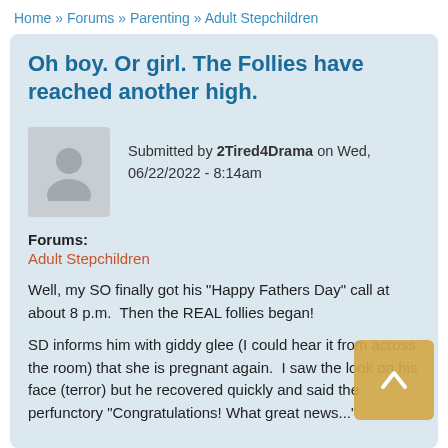Home » Forums » Parenting » Adult Stepchildren
Oh boy. Or girl. The Follies have reached another high.
Submitted by 2Tired4Drama on Wed, 06/22/2022 - 8:14am
Forums:
Adult Stepchildren
Well, my SO finally got his "Happy Fathers Day" call at about 8 p.m.  Then the REAL follies began!
SD informs him with giddy glee (I could hear it from across the room) that she is pregnant again.  I saw the look on his face (terror) but he recovered quickly and said the perfunctory "Congratulations! What great news..."